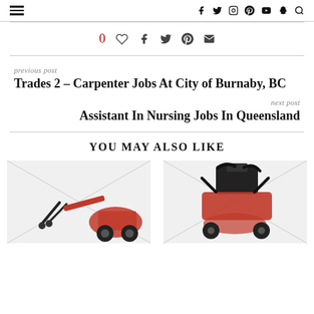Navigation bar with hamburger menu and social icons: facebook, twitter, instagram, pinterest, youtube, snapchat, search
0 (heart) (facebook) (twitter) (pinterest) (email)
previous post
Trades 2 – Carpenter Jobs At City of Burnaby, BC
next post
Assistant In Nursing Jobs In Queensland
YOU MAY ALSO LIKE
[Figure (photo): Red gardening/tilling machine with dark handles, photographed on white background]
[Figure (photo): Red engine/tilling machine with black components on top, photographed on white background]